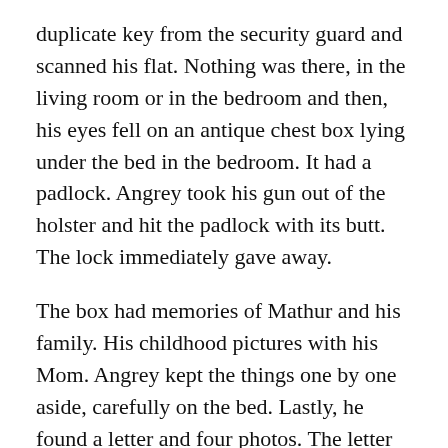duplicate key from the security guard and scanned his flat. Nothing was there, in the living room or in the bedroom and then, his eyes fell on an antique chest box lying under the bed in the bedroom. It had a padlock. Angrey took his gun out of the holster and hit the padlock with its butt. The lock immediately gave away.
The box had memories of Mathur and his family. His childhood pictures with his Mom. Angrey kept the things one by one aside, carefully on the bed. Lastly, he found a letter and four photos. The letter was written by Mathur's mom to him. Just two lines were written in it.
Angrey went through it. With every word, his fingers started to tremble. He felt like he was struck with a million Joules of a lightning bolt. He then went through the picture he had found in it. It would be difficult if someone would have seen those photos for the first